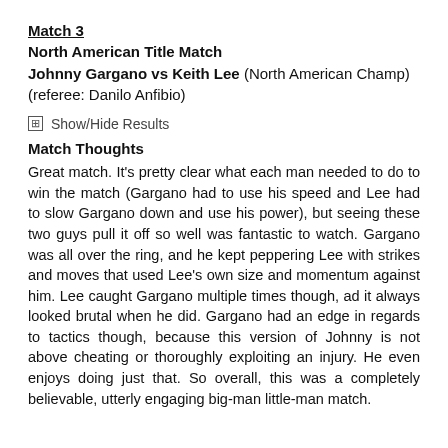Match 3
North American Title Match
Johnny Gargano vs Keith Lee (North American Champ)
(referee: Danilo Anfibio)
⊞ Show/Hide Results
Match Thoughts
Great match. It's pretty clear what each man needed to do to win the match (Gargano had to use his speed and Lee had to slow Gargano down and use his power), but seeing these two guys pull it off so well was fantastic to watch. Gargano was all over the ring, and he kept peppering Lee with strikes and moves that used Lee's own size and momentum against him. Lee caught Gargano multiple times though, ad it always looked brutal when he did. Gargano had an edge in regards to tactics though, because this version of Johnny is not above cheating or thoroughly exploiting an injury. He even enjoys doing just that. So overall, this was a completely believable, utterly engaging big-man little-man match.